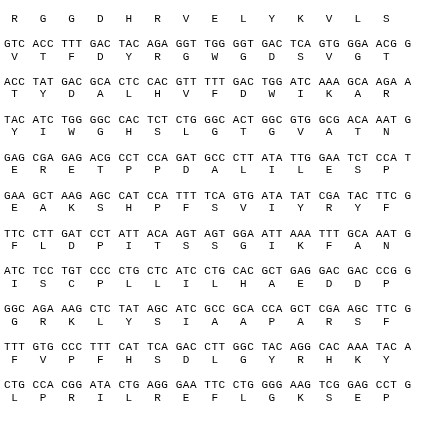R  G  G  D  H  R  V  E  L  Y  K  V  L  S
GTC ACC TTT GAC TAC AGA GGT TGG GGT GAC TCA GTG GGA ACG G
 V   T   F   D   Y   R   G   W   G   D   S   V   G   T
ACC TAT GAC GCA CTC CAC GTT TTT GAC TGG ATC AAA GCA AGA A
 T   Y   D   A   L   H   V   F   D   W   I   K   A   R
TAC ATC TGG GGC CAC TCT CTG GGC ACT GGC GTG GCG ACA AAT G
 Y   I   W   G   H   S   L   G   T   G   V   A   T   N
GAG CGA GAG ACG CCT CCA GAT GCC CTT ATA TTG GAA TCT CCA T
 E   R   E   T   P   P   D   A   L   I   L   E   S   P
GAA GCT AAG AGC CAT CCA TTT TCA GTG ATA TAT CGA TAC TTC G
 E   A   K   S   H   P   F   S   V   I   Y   R   Y   F
TTC CTT GAT CCT ATT ACA AGT AGT GGA ATT AAA TTT GCA AAT G
 F   L   D   P   I   T   S   S   G   I   K   F   A   N
ATC TCC TGT CCC CTG CTC ATC CTG CAC GCT GAG GAC GAC CCG G
 I   S   C   P   L   L   I   L   H   A   E   D   D   P
GGC AGA AAG CTC TAT AGC ATC GCC GCA CCA GCT CGA AGC TTC G
 G   R   K   L   Y   S   I   A   A   P   A   R   S   F
TTT GTG CCC TTT CAT TCA GAC CTT GGC TAC AGG CAC AAA TAC A
 F   V   P   F   H   S   D   L   G   Y   R   H   K   Y
CTG CCA CGG ATA CTG AGG GAA TTC CTG GGG AAG TCG GAG CCT G
 L   P   R   I   L   R   E   F   L   G   K   S   E   P